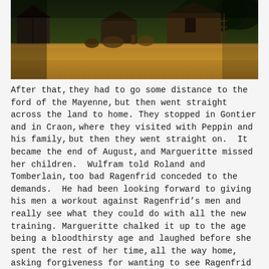[Figure (photo): A rural farm scene with thatched or timber-framed buildings in the background, golden grain or wheat in the foreground, with figures and animals visible in the middle ground. Warm amber/golden tones throughout.]
After that, they had to go some distance to the ford of the Mayenne, but then went straight across the land to home.  They stopped in Gontier and in Craon, where they visited with Peppin and his family, but then they went straight on.  It became the end of August, and Margueritte missed her children.  Wulfram told Roland and Tomberlain, too bad Ragenfrid conceded to the demands.  He had been looking forward to giving his men a workout against Ragenfrid's men and really see what they could do with all the new training.  Margueritte chalked it up to the age being a bloodthirsty age and laughed before she spent the rest of her time, all the way home, asking forgiveness for wanting to see Ragenfrid suffer.
# # #
Margueritte barely got in the house and hugged her children before she heard the news.  As Margueritte suspected, the Muslims came out of Septimania and laid siege to Toulouse.